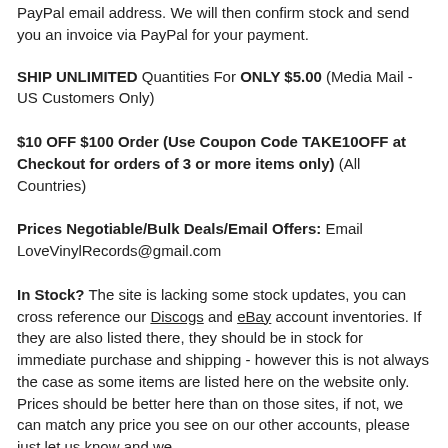PayPal email address. We will then confirm stock and send you an invoice via PayPal for your payment.
SHIP UNLIMITED Quantities For ONLY $5.00 (Media Mail - US Customers Only)
$10 OFF $100 Order (Use Coupon Code TAKE10OFF at Checkout for orders of 3 or more items only) (All Countries)
Prices Negotiable/Bulk Deals/Email Offers: Email LoveVinylRecords@gmail.com
In Stock? The site is lacking some stock updates, you can cross reference our Discogs and eBay account inventories. If they are also listed there, they should be in stock for immediate purchase and shipping - however this is not always the case as some items are listed here on the website only. Prices should be better here than on those sites, if not, we can match any price you see on our other accounts, please just let us know and we